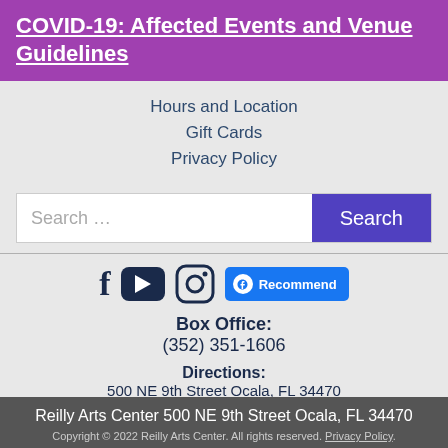COVID-19: Affected Events and Venue Guidelines
Hours and Location
Gift Cards
Privacy Policy
[Figure (screenshot): Search bar with text input placeholder 'Search ...' and a purple 'Search' button]
[Figure (screenshot): Social media icons: Facebook, YouTube, Instagram, and a Facebook Recommend button]
Box Office: (352) 351-1606
Directions: 500 NE 9th Street Ocala, FL 34470
Reilly Arts Center 500 NE 9th Street Ocala, FL 34470
Copyright © 2022 Reilly Arts Center. All rights reserved. Privacy Policy.